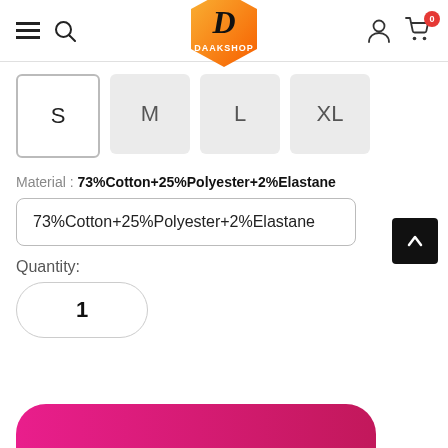[Figure (logo): Daakshop logo: hexagonal shape with orange-yellow gradient, letter D in black script, text DAAKSHOP in white below]
S
M
L
XL
Material : 73%Cotton+25%Polyester+2%Elastane
73%Cotton+25%Polyester+2%Elastane
Quantity:
1